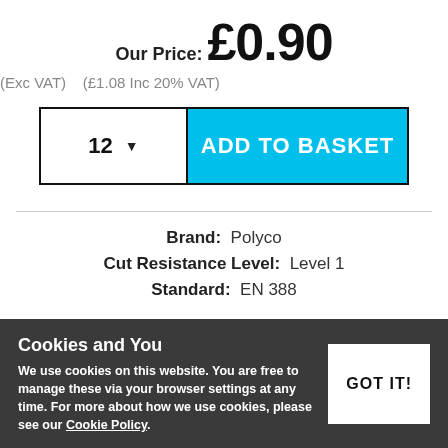Our Price: £0.90
(Exc VAT)   (£1.08 Inc 20% VAT)
12 ▼   ADD TO BASKET
Brand:  Polyco
Cut Resistance Level:  Level 1
Standard:  EN 388
Cookies and You
We use cookies on this website. You are free to manage these via your browser settings at any time. For more about how we use cookies, please see our Cookie Policy.